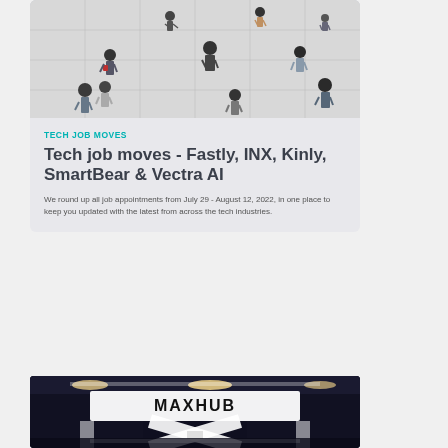[Figure (photo): Aerial top-down view of people walking on a tiled floor]
TECH JOB MOVES
Tech job moves - Fastly, INX, Kinly, SmartBear & Vectra AI
We round up all job appointments from July 29 - August 12, 2022, in one place to keep you updated with the latest from across the tech industries.
[Figure (photo): MAXHUB exhibition stand with illuminated sign and large X structure]